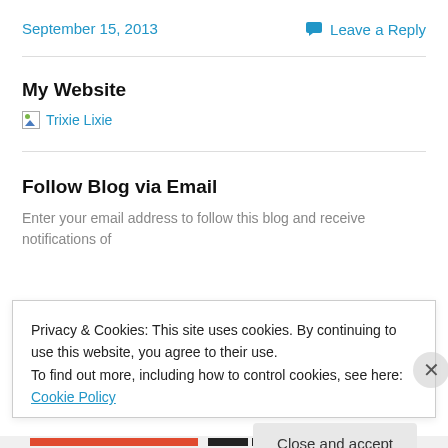September 15, 2013
Leave a Reply
My Website
[Figure (other): Broken image placeholder with text 'Trixie Lixie' as a link]
Follow Blog via Email
Enter your email address to follow this blog and receive notifications of
Privacy & Cookies: This site uses cookies. By continuing to use this website, you agree to their use.
To find out more, including how to control cookies, see here: Cookie Policy